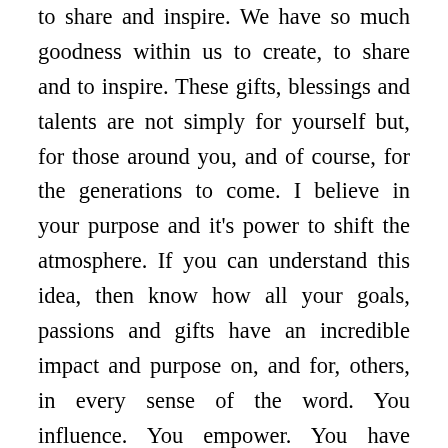to share and inspire. We have so much goodness within us to create, to share and to inspire. These gifts, blessings and talents are not simply for yourself but, for those around you, and of course, for the generations to come. I believe in your purpose and it's power to shift the atmosphere. If you can understand this idea, then know how all your goals, passions and gifts have an incredible impact and purpose on, and for, others, in every sense of the word. You influence. You empower. You have impact. You shift atmospheres. You change directions. So, I revert back to, how do you spend your time? Your 24-hours? I encourage you to continue to be full of determination, focus, clarity, courage and